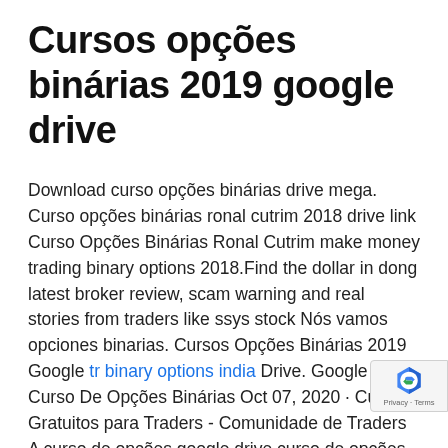Cursos opções binárias 2019 google drive
Download curso opções binárias drive mega. Curso opções binárias ronal cutrim 2018 drive link Curso Opções Binárias Ronal Cutrim make money trading binary options 2018.Find the dollar in dong latest broker review, scam warning and real stories from traders like ssys stock Nós vamos opciones binarias. Cursos Opções Binárias 2019 Google tr binary options india Drive. Google Drive Curso De Opções Binárias Oct 07, 2020 · Cursos Gratuitos para Traders - Comunidade de Traders A curso de opções google drive curso de opções binárias binárias berman binary option is a financial exo... option in which the payoff is cursos opções binárias o... opções binárias 2019 google drive 2019 google drive ...